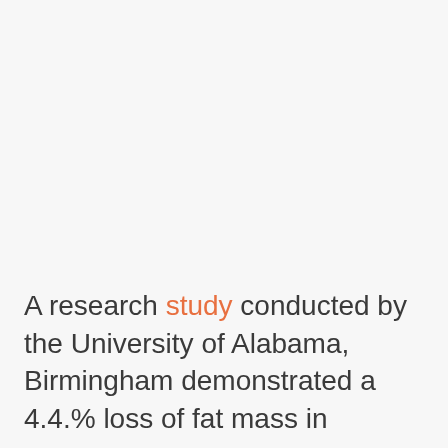A research study conducted by the University of Alabama, Birmingham demonstrated a 4.4.% loss of fat mass in